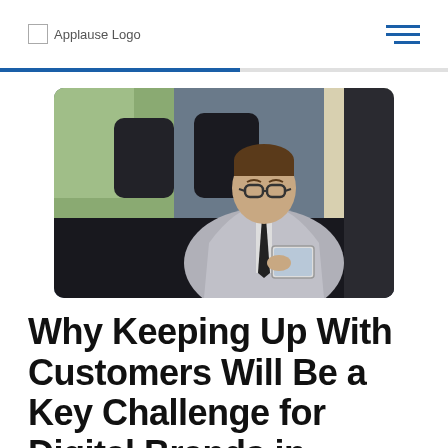Applause Logo
[Figure (photo): A businessman in a grey suit and tie sitting in the back seat of a car, looking down at a tablet device. Trees and windows are visible in the background.]
Why Keeping Up With Customers Will Be a Key Challenge for Digital Brands in